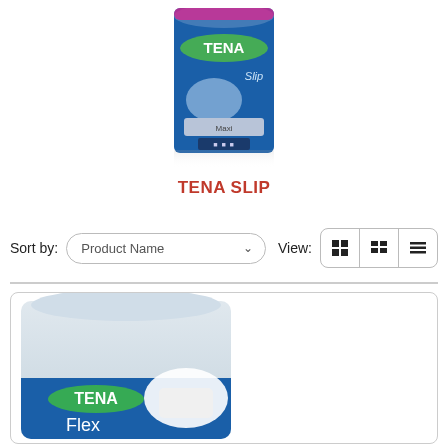[Figure (photo): TENA Slip product packaging - blue box with TENA logo and Slip branding, maxi variant]
TENA SLIP
Sort by: Product Name  View: [grid] [list] [compact-list]
[Figure (photo): TENA Flex product packaging - grey and blue bag with TENA logo and Flex branding]